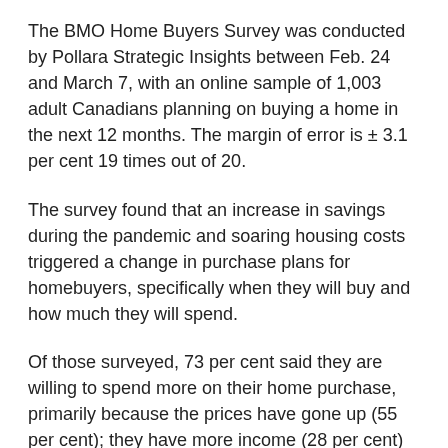The BMO Home Buyers Survey was conducted by Pollara Strategic Insights between Feb. 24 and March 7, with an online sample of 1,003 adult Canadians planning on buying a home in the next 12 months. The margin of error is ± 3.1 per cent 19 times out of 20.
The survey found that an increase in savings during the pandemic and soaring housing costs triggered a change in purchase plans for homebuyers, specifically when they will buy and how much they will spend.
Of those surveyed, 73 per cent said they are willing to spend more on their home purchase, primarily because the prices have gone up (55 per cent); they have more income (28 per cent) and they have more savings because of the pandemic (27 per cent).
More than half (55 per cent) of respondents said they will use most or all of their increased savings for their down payment. Fifty-two per cent reported using their increased